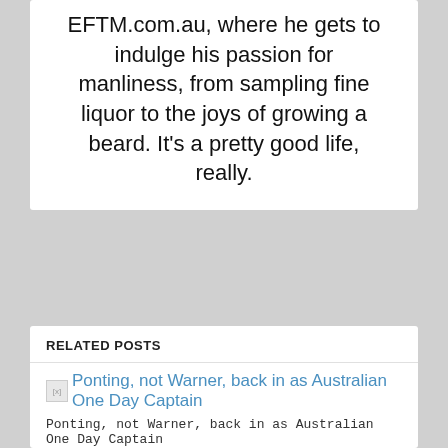EFTM.com.au, where he gets to indulge his passion for manliness, from sampling fine liquor to the joys of growing a beard. It's a pretty good life, really.
RELATED POSTS
[Figure (screenshot): A broken image thumbnail next to a blue hyperlink text reading 'Ponting, not Warner, back in as Australian One Day Captain']
Ponting, not Warner, back in as Australian One Day Captain
February 15, 2012
[Figure (photo): A large grey placeholder image box with loading indicator lines in the center]